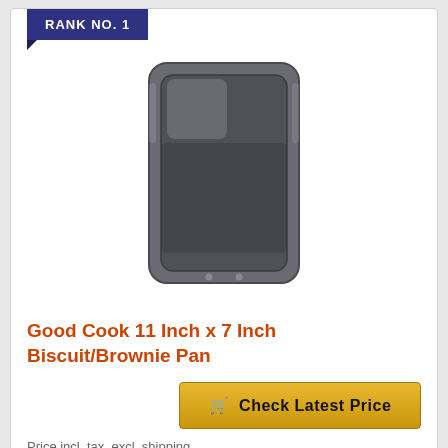RANK NO. 1
[Figure (photo): Product photo of a rectangular dark gray non-stick biscuit/brownie pan]
Good Cook 11 Inch x 7 Inch Biscuit/Brownie Pan
Check Latest Price
Price incl. tax, excl. shipping
RANK NO. 2